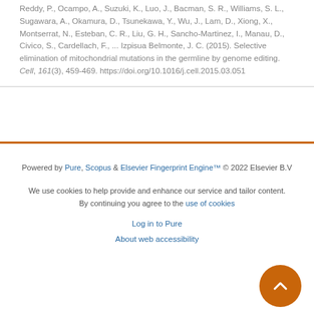Reddy, P., Ocampo, A., Suzuki, K., Luo, J., Bacman, S. R., Williams, S. L., Sugawara, A., Okamura, D., Tsunekawa, Y., Wu, J., Lam, D., Xiong, X., Montserrat, N., Esteban, C. R., Liu, G. H., Sancho-Martinez, I., Manau, D., Civico, S., Cardellach, F., ... Izpisua Belmonte, J. C. (2015). Selective elimination of mitochondrial mutations in the germline by genome editing. Cell, 161(3), 459-469. https://doi.org/10.1016/j.cell.2015.03.051
Powered by Pure, Scopus & Elsevier Fingerprint Engine™ © 2022 Elsevier B.V

We use cookies to help provide and enhance our service and tailor content. By continuing you agree to the use of cookies

Log in to Pure

About web accessibility